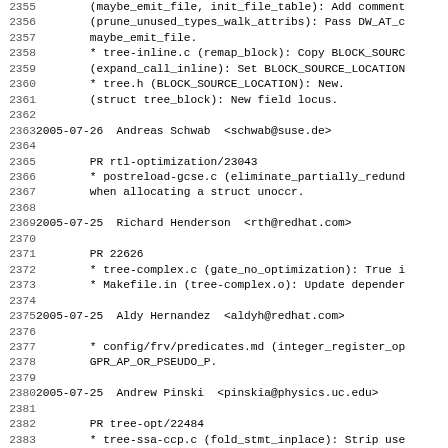Changelog/commit log entries for GCC, lines 2355-2386, showing contributions by Andreas Schwab, Richard Henderson, Aldy Hernandez, and Andrew Pinski dated 2005-07-25 and 2005-07-26.